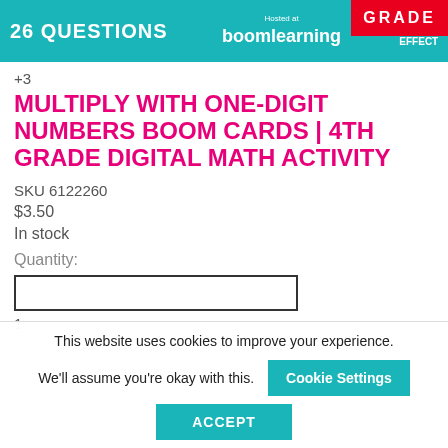[Figure (screenshot): Product banner image showing '26 QUESTIONS', 'Hosted at boomlearning', 'THE Learning EFFECT', and 'GRADE' badge on a teal/red background]
+3
MULTIPLY WITH ONE-DIGIT NUMBERS BOOM CARDS | 4TH GRADE DIGITAL MATH ACTIVITY
SKU 6122260
$3.50
In stock
Quantity:
1
This website uses cookies to improve your experience. We'll assume you're okay with this.
Cookie Settings
ACCEPT